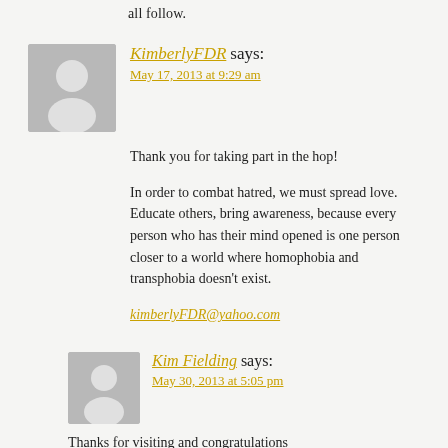all follow.
KimberlyFDR says:
May 17, 2013 at 9:29 am
Thank you for taking part in the hop!

In order to combat hatred, we must spread love. Educate others, bring awareness, because every person who has their mind opened is one person closer to a world where homophobia and transphobia doesn't exist.

kimberlyFDR@yahoo.com
Kim Fielding says:
May 30, 2013 at 5:05 pm
Thanks for visiting and congratulations